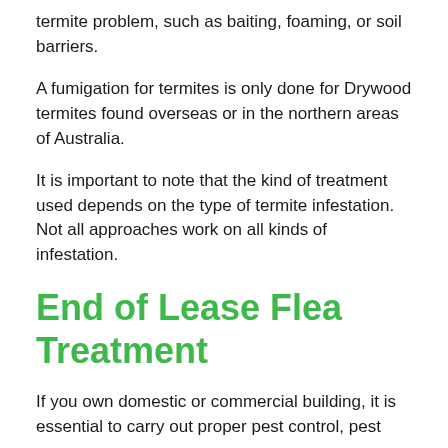termite problem, such as baiting, foaming, or soil barriers.
A fumigation for termites is only done for Drywood termites found overseas or in the northern areas of Australia.
It is important to note that the kind of treatment used depends on the type of termite infestation. Not all approaches work on all kinds of infestation.
End of Lease Flea Treatment
If you own domestic or commercial building, it is essential to carry out proper pest control, pest